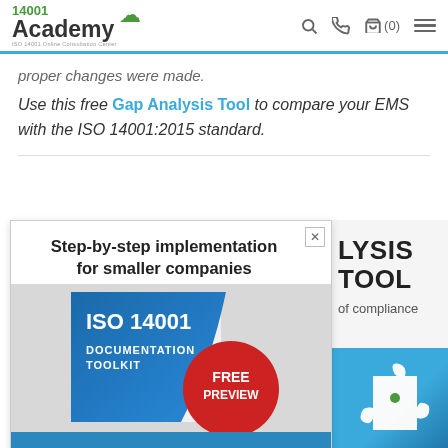14001 Academy – ISO 14001 Online Consultation Center
proper changes were made.
Use this free Gap Analysis Tool to compare your EMS with the ISO 14001:2015 standard.
[Figure (screenshot): Advertisement popup: ISO 14001 Documentation Toolkit – Step-by-step implementation for smaller companies. Shows a book graphic with FREE PREVIEW badge. Find Out More blue button at bottom. Behind/right shows partial text LYSIS TOOL and partial compliance text with puzzle piece image.]